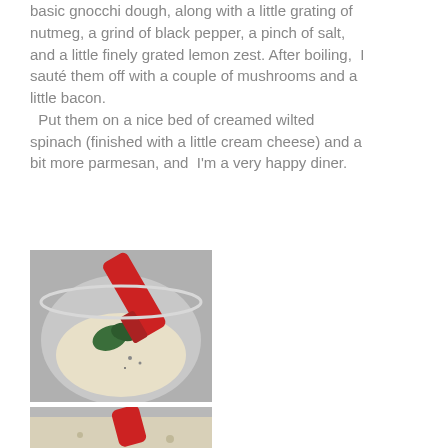basic gnocchi dough, along with a little grating of nutmeg, a grind of black pepper, a pinch of salt, and a little finely grated lemon zest. After boiling,  I sauté them off with a couple of mushrooms and a little bacon.   Put them on a nice bed of creamed wilted spinach (finished with a little cream cheese) and a bit more parmesan, and  I'm a very happy diner.
[Figure (photo): Photo of gnocchi dough mixture in a metal bowl with spinach and seasonings, being mixed with a red spatula]
[Figure (photo): Partial photo of similar gnocchi preparation with red spatula visible at top]